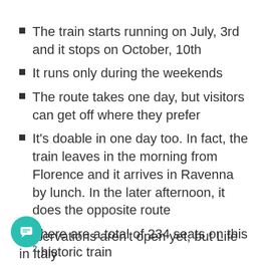The train starts running on July, 3rd and it stops on October, 10th
It runs only during the weekends
The route takes one day, but visitors can get off where they prefer
It's doable in one day too. In fact, the train leaves in the morning from Florence and it arrives in Ravenna by lunch. In the later afternoon, it does the opposite route
There are a total of 234 seats on this historic train
Reservations aren't open yet, but Life in Italy